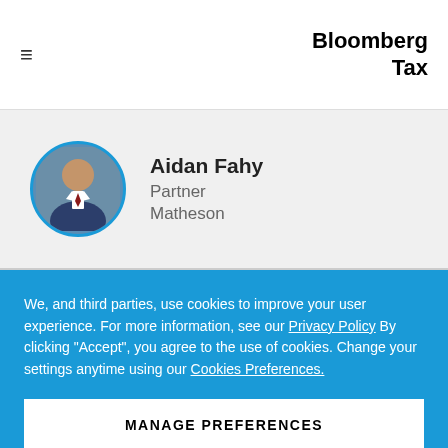Bloomberg Tax
Aidan Fahy
Partner
Matheson
We, and third parties, use cookies to improve your user experience. For more information, see our Privacy Policy By clicking "Accept", you agree to the use of cookies. Change your settings anytime using our Cookies Preferences.
MANAGE PREFERENCES
ACCEPT